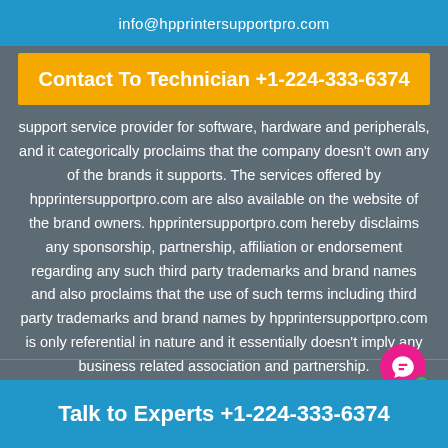info@hpprintersupportpro.com
Contact To Technician +1-224-333-6374
support service provider for software, hardware and peripherals, and it categorically proclaims that the company doesn't own any of the brands it supports. The services offered by hpprintersupportpro.com are also available on the website of the brand owners. hpprintersupportpro.com hereby disclaims any sponsorship, partnership, affiliation or endorsement regarding any such third party trademarks and brand names and also proclaims that the use of such terms including third party trademarks and brand names by hpprintersupportpro.com is only referential in nature and it essentially doesn't imply any business related association and partnership.
Talk to Experts +1-224-333-6374